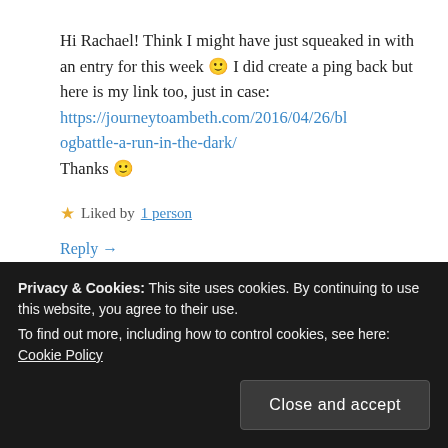Hi Rachael! Think I might have just squeaked in with an entry for this week 🙂 I did create a ping back but here is my link too, just in case: https://journeytoambeth.com/2016/04/26/blogbattle-a-run-in-the-dark/ Thanks 🙂
★ Liked by 1 person
Reply →
[Figure (other): Partial view of a commenter avatar (purple circle) and partially visible author name]
Privacy & Cookies: This site uses cookies. By continuing to use this website, you agree to their use. To find out more, including how to control cookies, see here: Cookie Policy
Close and accept